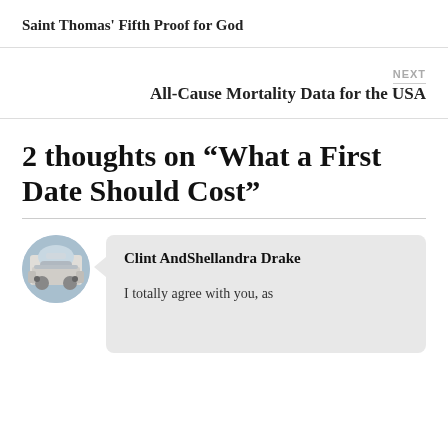Saint Thomas’ Fifth Proof for God
NEXT
All-Cause Mortality Data for the USA
2 thoughts on “What a First Date Should Cost”
Clint AndShellandra Drake
I totally agree with you, as